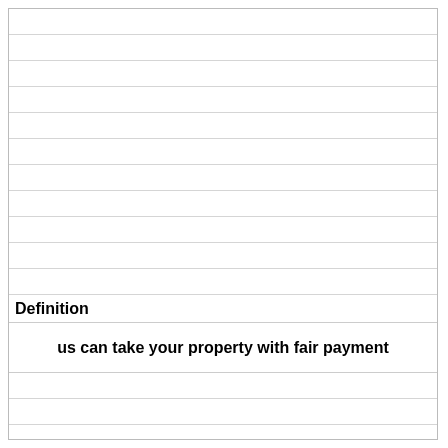Definition
us can take your property with fair payment
Term
What is the purpose of a grand jury?